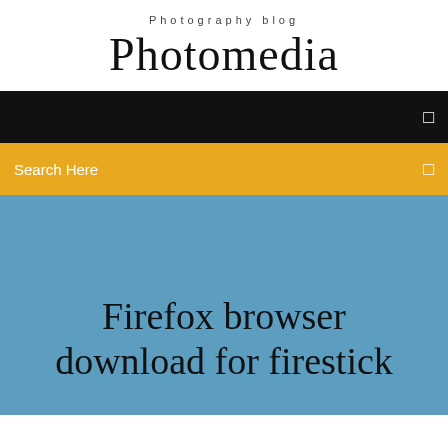Photography blog
Photomedia
[Figure (screenshot): Black navigation bar with a small square icon on the right]
[Figure (screenshot): Yellow/orange search bar with 'Search Here' text on the left and a small square icon on the right]
Firefox browser download for firestick